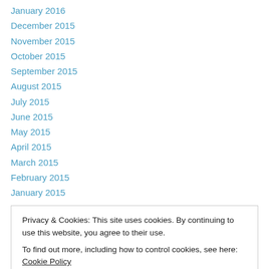January 2016
December 2015
November 2015
October 2015
September 2015
August 2015
July 2015
June 2015
May 2015
April 2015
March 2015
February 2015
January 2015
Privacy & Cookies: This site uses cookies. By continuing to use this website, you agree to their use. To find out more, including how to control cookies, see here: Cookie Policy
August 2012